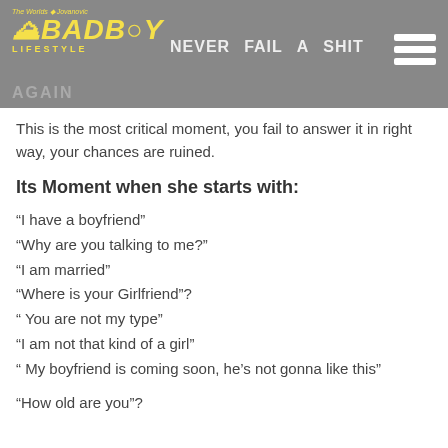NEVER FAIL A SHIT
This is the most critical moment, you fail to answer it in right way, your chances are ruined.
Its Moment when she starts with:
“I have a boyfriend”
“Why are you talking to me?”
“I am married”
“Where is your Girlfriend”?
“ You are not my type”
“I am not that kind of a girl”
“  My boyfriend is coming soon, he’s not gonna like this”
“How old are you”?